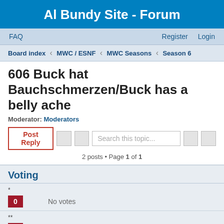Al Bundy Site - Forum
FAQ   Register   Login
Board index < MWC / ESNF < MWC Seasons < Season 6
606 Buck hat Bauchschmerzen/Buck has a belly ache
Moderator: Moderators
Post Reply   Search this topic...
2 posts • Page 1 of 1
Voting
* 0 No votes
** 0 No votes
*** 1 25%